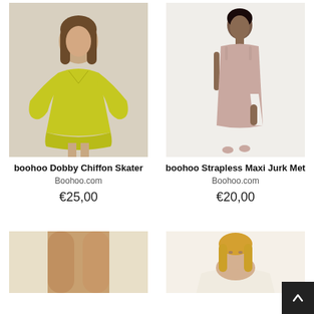[Figure (photo): Woman wearing a yellow-green Dobby Chiffon Skater dress with balloon sleeves, V-neck, short length]
boohoo Dobby Chiffon Skater
Boohoo.com
€25,00
[Figure (photo): Woman wearing a dusty pink strapless maxi dress with a slit, shown full-length against white background]
boohoo Strapless Maxi Jurk Met
Boohoo.com
€20,00
[Figure (photo): Partial view of woman's legs wearing a light dress or skirt, cropped at bottom of page]
[Figure (photo): Partial view of blonde woman wearing a cream/white dress, cropped at bottom of page]